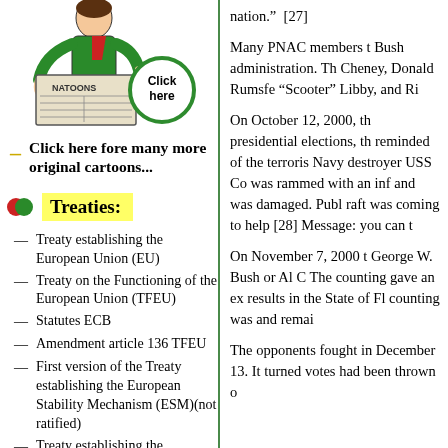[Figure (illustration): Cartoon of a person reading a newspaper labeled 'NATOONS', with a 'Click here' green circle button overlay]
Click here fore many more original cartoons...
Treaties:
Treaty establishing the European Union (EU)
Treaty on the Functioning of the European Union (TFEU)
Statutes ECB
Amendment article 136 TFEU
First version of the Treaty establishing the European Stability Mechanism (ESM)(not ratified)
Treaty establishing the European Stability Mechanism (ESM)
Treaty on Stability, Coordination...
nation."  [27]
Many PNAC members t Bush administration. Th Cheney, Donald Rumsfe "Scooter" Libby, and Ri
On October 12, 2000, th presidential elections, th reminded of the terroris Navy destroyer USS Co was rammed with an inf and was damaged. Publ raft was coming to help [28] Message: you can t
On November 7, 2000 t George W. Bush or Al C The counting gave an ex results in the State of Fl counting was and remai
The opponents fought in December 13. It turned votes had been thrown o